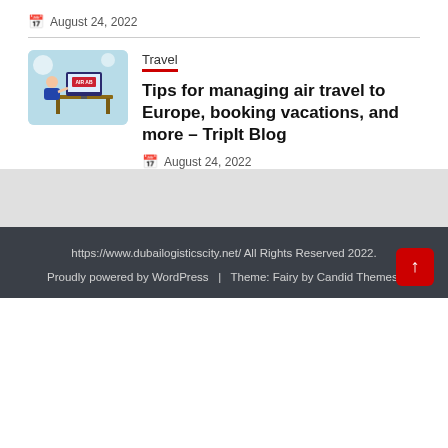August 24, 2022
Travel
[Figure (illustration): Illustration of a person sitting at a desk with a computer showing an airline booking interface]
Tips for managing air travel to Europe, booking vacations, and more – TripIt Blog
August 24, 2022
https://www.dubailogisticscity.net/ All Rights Reserved 2022. Proudly powered by WordPress | Theme: Fairy by Candid Themes.